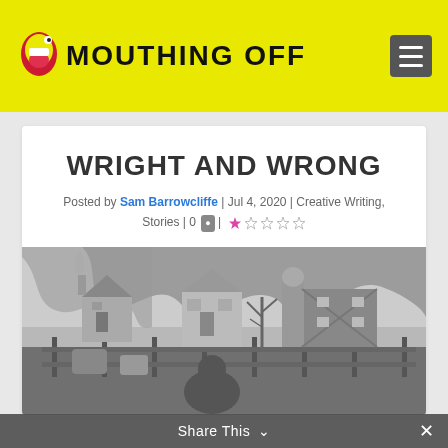MOUTHING OFF
WRIGHT AND WRONG
Posted by Sam Barrowcliffe | Jul 4, 2020 | Creative Writing, Stories | 0 | ★☆☆☆☆
[Figure (illustration): Black and white pencil/pen illustration of a farm scene with houses, barn, silo, fence, and figures in the foreground with dramatic sky]
Share This